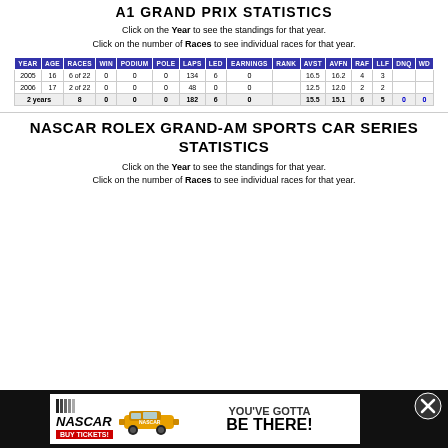A1 GRAND PRIX STATISTICS
Click on the Year to see the standings for that year.
Click on the number of Races to see individual races for that year.
| YEAR | AGE | RACES | WIN | PODIUM | POLE | LAPS | LED | EARNINGS | RANK | AVST | AVFN | RAF | LLF | DNQ | WD |
| --- | --- | --- | --- | --- | --- | --- | --- | --- | --- | --- | --- | --- | --- | --- | --- |
| 2005 | 16 | 6 of 22 | 0 | 0 | 0 | 134 | 6 | 0 |  | 16.5 | 16.2 | 4 | 3 |  |  |
| 2006 | 17 | 2 of 22 | 0 | 0 | 0 | 48 | 0 | 0 |  | 12.5 | 12.0 | 2 | 2 |  |  |
| 2 years |  | 8 | 0 | 0 | 0 | 182 | 6 | 0 |  | 15.5 | 15.1 | 6 | 5 | 0 | 0 |
NASCAR ROLEX GRAND-AM SPORTS CAR SERIES STATISTICS
Click on the Year to see the standings for that year.
Click on the number of Races to see individual races for that year.
[Figure (other): NASCAR advertisement banner: NASCAR logo with Buy Tickets button, race car image, text YOU'VE GOTTA BE THERE!]